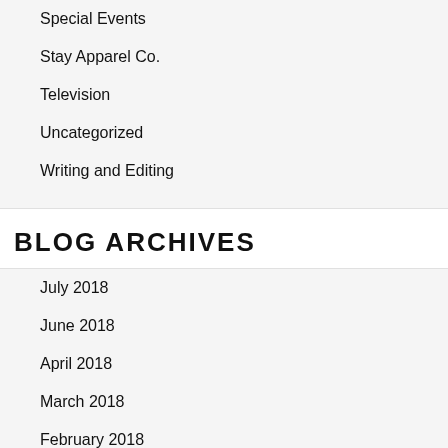Special Events
Stay Apparel Co.
Television
Uncategorized
Writing and Editing
BLOG ARCHIVES
July 2018
June 2018
April 2018
March 2018
February 2018
January 2018